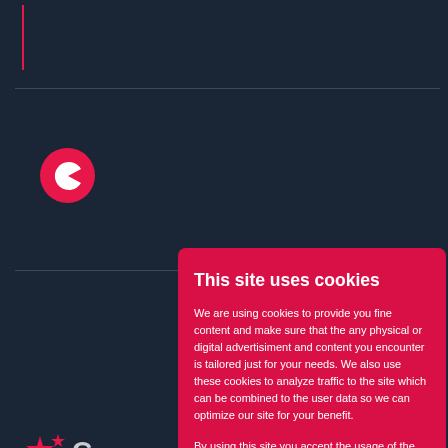[Figure (screenshot): Dark navy website background with red vertical accent line, horizontal divider, circular red logo with Pac-Man style icon, star rating icons and partial text]
This site uses cookies
We are using cookies to provide you fine content and make sure that the any physical or digital advertisiment and content you encounter is tailored just for your needs. We also use these cookies to analyze traffic to the site which can be combined to the user data so we can optimize our site for your benefit.
By using this site you accept the usage of the following cookies and policies represented below. If you wish, you can see make changes and see the cookie policy from below.
Cookies OK, save settings
Click here show the details
In 2021, m... Money Ca... dedicate a... modern ti... Some cas... rollover re... completel... withdrawa...